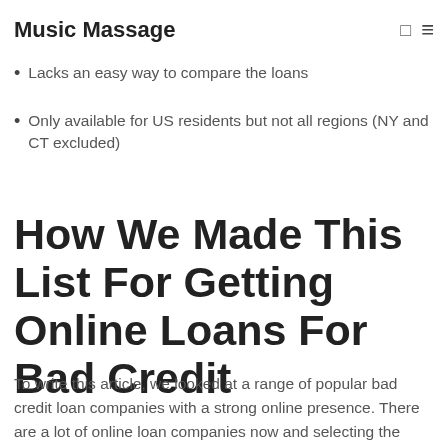Music Massage
Lacks an easy way to compare the loans
Only available for US residents but not all regions (NY and CT excluded)
How We Made This List For Getting Online Loans For Bad Credit
To write this article, we looked at a range of popular bad credit loan companies with a strong online presence. There are a lot of online loan companies now and selecting the right one is more difficult than ever. New companies appear